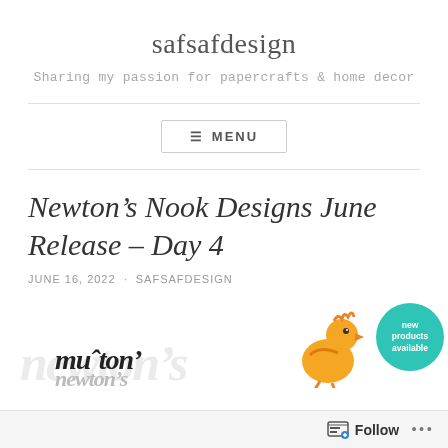safsafdesign
Sharing my passion for papercrafts & home decor
☰ MENU
Newton's Nook Designs June Release – Day 4
JUNE 16, 2022  ·  SAFSAFDESIGN
[Figure (logo): Newton's Nook Designs logo with chicken illustration and 'new products available' teal badge]
Follow  •••